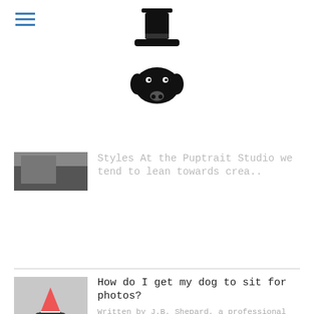[Figure (logo): Dog with top hat logo icon in black]
Styles At the Puptrait Studio we tend to lean towards crea..
How do I get my dog to sit for photos?
Written by J.B. Shepard, a professional pet photographer and founder of the Pupt..
Flash Photography: is it safe to use flash when photographing my dog?
Written by J.B. Shepard, a professional pet photographer and founder of the Pupt..